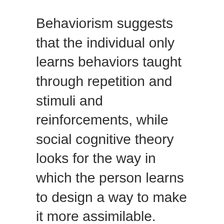Behaviorism suggests that the individual only learns behaviors taught through repetition and stimuli and reinforcements, while social cognitive theory looks for the way in which the person learns to design a way to make it more assimilable.